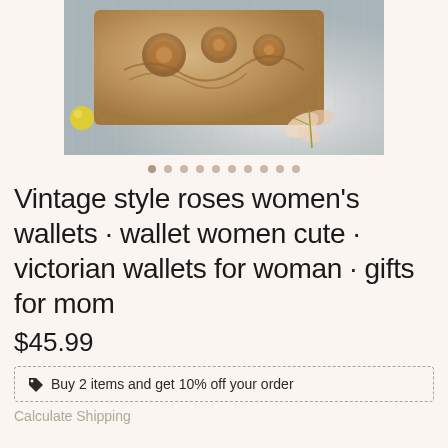[Figure (photo): A decorative vintage-style women's wallet with ornate gold/tan embossed floral rose design, placed on white fluffy fur fabric with pink flower decoration]
Vintage style roses women's wallets · wallet women cute · victorian wallets for woman · gifts for mom
$45.99
Buy 2 items and get 10% off your order
Calculate Shipping